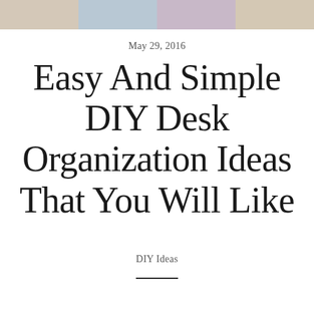[Figure (photo): Four small thumbnail images of desk organization ideas arranged in a horizontal strip at the top of the page]
May 29, 2016
Easy And Simple DIY Desk Organization Ideas That You Will Like
DIY Ideas